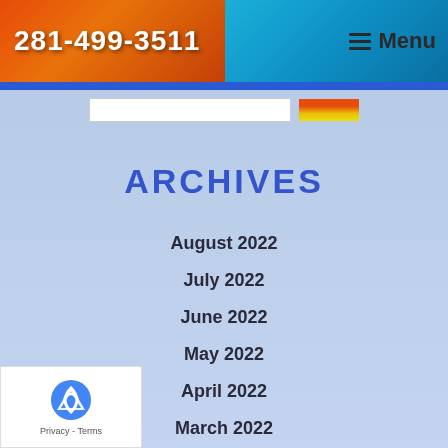281-499-3511  Menu
ARCHIVES
August 2022
July 2022
June 2022
May 2022
April 2022
March 2022
February 2022
January 2022